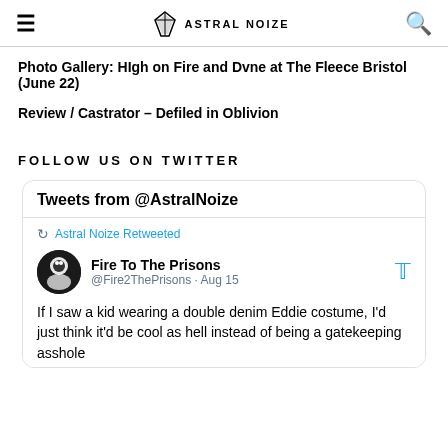≡  ASTRAL NOIZE  🔍
Photo Gallery: HIgh on Fire and Dvne at The Fleece Bristol (June 22)
Review / Castrator – Defiled in Oblivion
FOLLOW US ON TWITTER
Tweets from @AstralNoize
Astral Noize Retweeted
Fire To The Prisons @Fire2ThePrisons · Aug 15
If I saw a kid wearing a double denim Eddie costume, I'd just think it'd be cool as hell instead of being a gatekeeping asshole